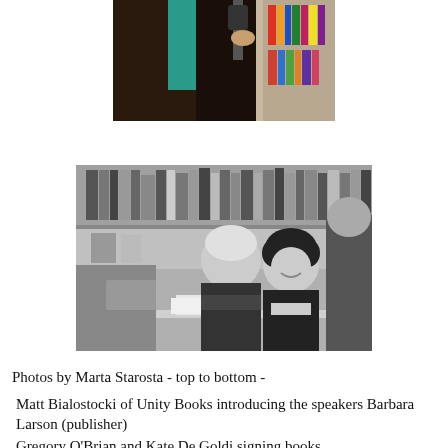[Figure (photo): Color photo (partially cropped at top) of a person in dark clothing with a teal/turquoise scarf, holding a microphone, with bookshelves visible in the background.]
[Figure (photo): Black and white photo of people at a book signing event in a bookstore. Two people are seated at a table — one older person leaning over and one with curly dark hair smiling — while another person stands to the right. Bookshelves are visible in the background.]
Photos by Marta Starosta - top to bottom -

Matt Bialostocki of Unity Books introducing the speakers Barbara Larson (publisher)
Gregory O'Brian and Kate De Goldi signing books